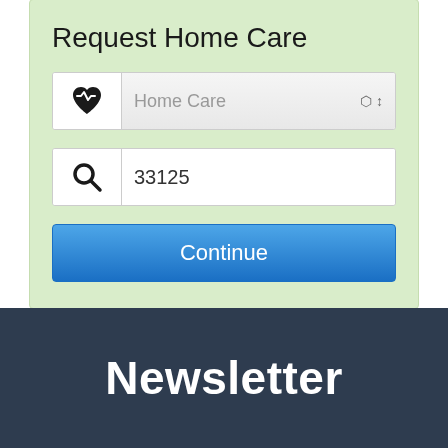[Figure (screenshot): A web form widget with a light green background labeled 'Request Home Care'. It contains a dropdown field showing 'Home Care' with a heart rate icon, a text input field showing '33125' with a search icon, and a blue 'Continue' button.]
Newsletter